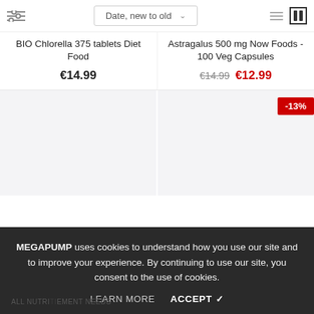[Figure (screenshot): Toolbar with filter icon, sort dropdown 'Date, new to old', list and grid view icons]
BIO Chlorella 375 tablets Diet Food
€14.99
Astragalus 500 mg Now Foods - 100 Veg Capsules
€14.99  €12.99
[Figure (photo): Product image placeholder (light gray background)]
[Figure (photo): Product image placeholder with -13% discount badge (light gray background)]
MEGAPUMP uses cookies to understand how you use our site and to improve your experience. By continuing to use our site, you consent to the use of cookies.
LEARN MORE   ACCEPT ✓
ALL NUTRI...ement Needs